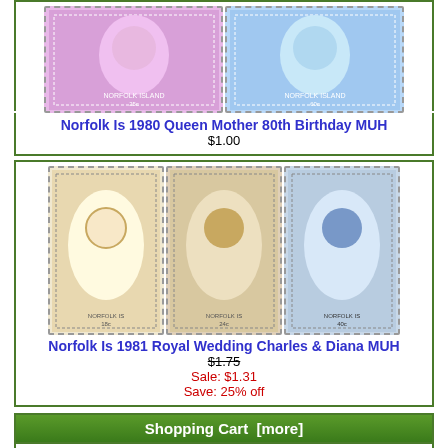[Figure (photo): Two Norfolk Island stamps showing Queen Mother portrait on pink and blue backgrounds]
Norfolk Is 1980 Queen Mother 80th Birthday MUH
$1.00
[Figure (photo): Three Norfolk Island stamps showing Royal Wedding Charles & Diana]
Norfolk Is 1981 Royal Wedding Charles & Diana MUH
$1.75 Sale: $1.31 Save: 25% off
Shopping Cart  [more]
Your cart is empty.
Specials  [more]
[Figure (photo): Two Germany 1962 Europa stamps showing tree design on green backgrounds]
Germany 1962 Europa MUH Lot15603
$0.75  $0.29